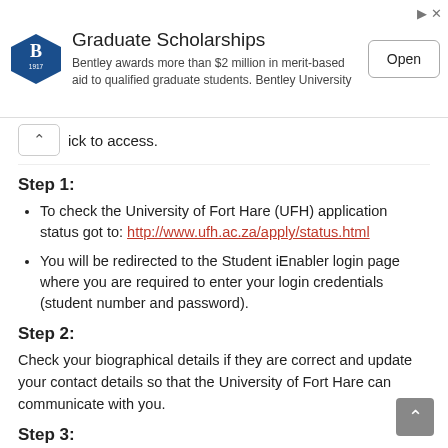[Figure (other): Advertisement banner for Bentley University Graduate Scholarships with Bentley shield logo, text about $2 million in merit-based aid, and an Open button]
ick to access.
Step 1:
To check the University of Fort Hare (UFH) application status got to: http://www.ufh.ac.za/apply/status.html
You will be redirected to the Student iEnabler login page where you are required to enter your login credentials (student number and password).
Step 2:
Check your biographical details if they are correct and update your contact details so that the University of Fort Hare can communicate with you.
Step 3: